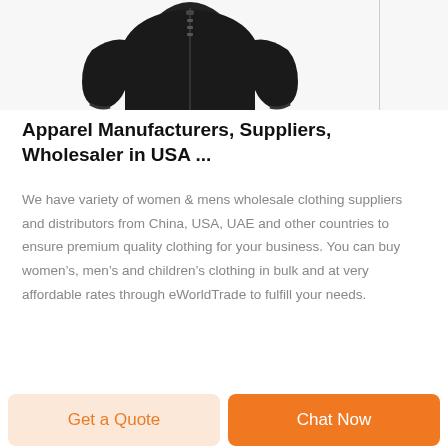[Figure (photo): Black zip-up jacket/hoodie product image on light gray background, partially cropped at top]
Apparel Manufacturers, Suppliers, Wholesaler in USA ...
We have variety of women & mens wholesale clothing suppliers and distributors from China, USA, UAE and other countries to ensure premium quality clothing for your business. You can buy women’s, men’s and children’s clothing in bulk and at very affordable rates through eWorldTrade to fulfill your needs.
Read...
Get a Quote
Chat Now